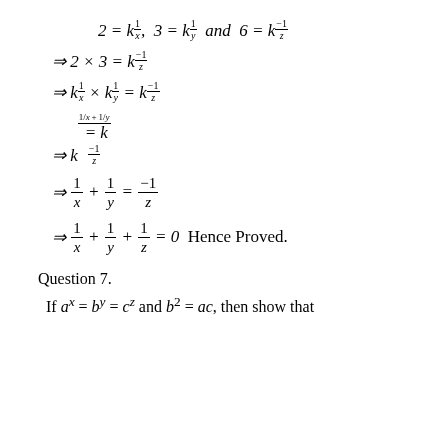Question 7.
If aˣ = bʸ = c² and b² = ac, then show that